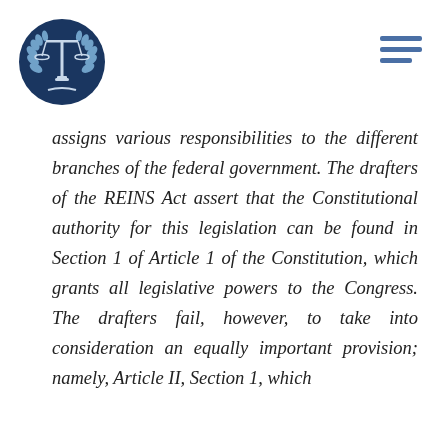[Figure (logo): Circular dark navy blue logo with scales of justice and laurel wreath emblem]
[Figure (other): Hamburger menu icon with three horizontal navy blue lines]
assigns various responsibilities to the different branches of the federal government. The drafters of the REINS Act assert that the Constitutional authority for this legislation can be found in Section 1 of Article 1 of the Constitution, which grants all legislative powers to the Congress. The drafters fail, however, to take into consideration an equally important provision; namely, Article II, Section 1, which